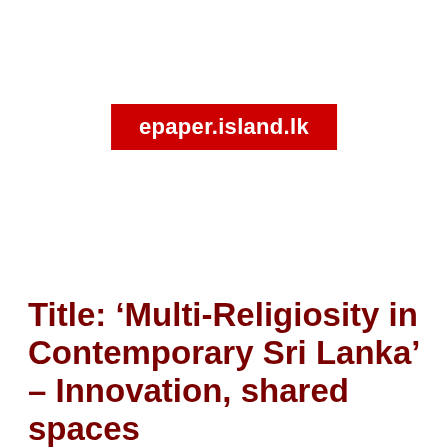[Figure (logo): Red rectangle logo with white text reading 'epaper.island.lk']
Title: ‘Multi-Religiosity in Contemporary Sri Lanka’ – Innovation, shared spaces